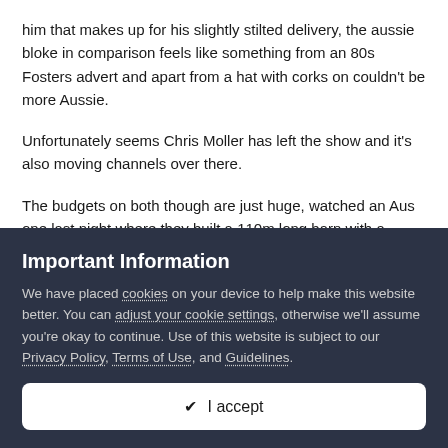him that makes up for his slightly stilted delivery, the aussie bloke in comparison feels like something from an 80s Fosters advert and apart from a hat with corks on couldn't be more Aussie.

Unfortunately seems Chris Moller has left the show and it's also moving channels over there.

The budgets on both though are just huge, watched an Aus one last night where they built a 110m long barn with a home at one end and various business bits in between, spent north of $2m AUD. The copper beach house in NZ the other day I recall the bloke saying all in he was at about $5m NZD.
Important Information
We have placed cookies on your device to help make this website better. You can adjust your cookie settings, otherwise we'll assume you're okay to continue. Use of this website is subject to our Privacy Policy, Terms of Use, and Guidelines.
✔ I accept